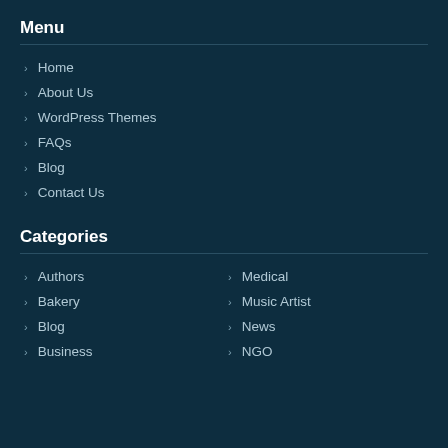Menu
Home
About Us
WordPress Themes
FAQs
Blog
Contact Us
Categories
Authors
Bakery
Blog
Business
Medical
Music Artist
News
NGO